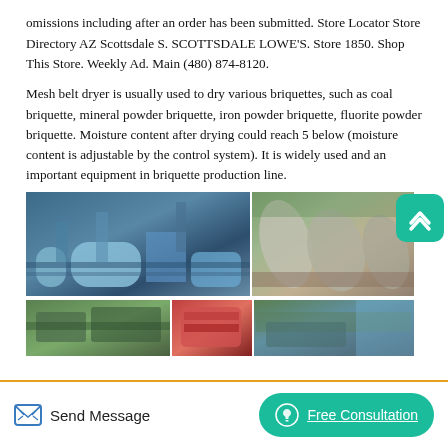omissions including after an order has been submitted. Store Locator Store Directory AZ Scottsdale S. SCOTTSDALE LOWE'S. Store 1850. Shop This Store. Weekly Ad. Main (480) 874-8120.
Mesh belt dryer is usually used to dry various briquettes, such as coal briquette, mineral powder briquette, iron powder briquette, fluorite powder briquette. Moisture content after drying could reach 5 below (moisture content is adjustable by the control system). It is widely used and an important equipment in briquette production line.
[Figure (photo): Grid of industrial machinery photos: top-left shows a large industrial processing plant with conveyor belts and machinery; top-right shows large cylindrical industrial drums/rollers outdoors; bottom-left shows an industrial facility with buildings and equipment; bottom-center shows red industrial equipment; bottom-right shows industrial equipment with mountain backdrop.]
Send Message
Free Consultation